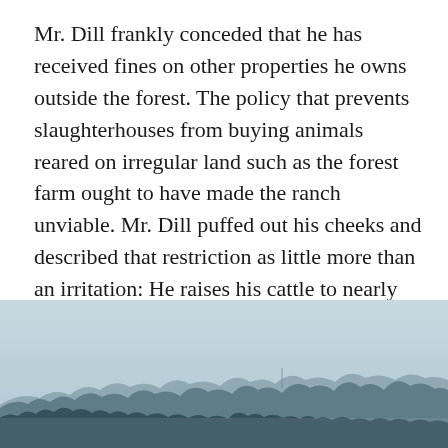Mr. Dill frankly conceded that he has received fines on other properties he owns outside the forest. The policy that prevents slaughterhouses from buying animals reared on irregular land such as the forest farm ought to have made the ranch unviable. Mr. Dill puffed out his cheeks and described that restriction as little more than an irritation: He raises his cattle to nearly full-grown, then hands them off to a farmer whose land lies outside the protected area – after which they're sold into the supply chain that promises consumers rainforest-free beef.
[Figure (photo): A misty, hazy landscape photograph showing a silhouette of a treeline (forest/jungle) against a pale blue-grey foggy sky. The trees appear as a dark ridge in the lower portion of the image.]